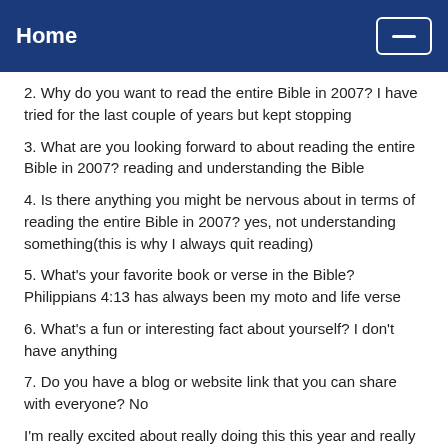Home
2. Why do you want to read the entire Bible in 2007? I have tried for the last couple of years but kept stopping
3. What are you looking forward to about reading the entire Bible in 2007? reading and understanding the Bible
4. Is there anything you might be nervous about in terms of reading the entire Bible in 2007? yes, not understanding something(this is why I always quit reading)
5. What's your favorite book or verse in the Bible? Philippians 4:13 has always been my moto and life verse
6. What's a fun or interesting fact about yourself? I don't have anything
7. Do you have a blog or website link that you can share with everyone? No
I'm really excited about really doing this this year and really sticking with it this time no matter what!!!
Posted by: Kim | January 01, 2007 at 09:34 PM